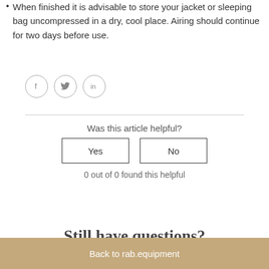When finished it is advisable to store your jacket or sleeping bag uncompressed in a dry, cool place. Airing should continue for two days before use.
[Figure (other): Three social media icon circles: Facebook (f), Twitter (bird), LinkedIn (in)]
Was this article helpful?
Yes   No
0 out of 0 found this helpful
Still have questions?
Back to rab.equipment